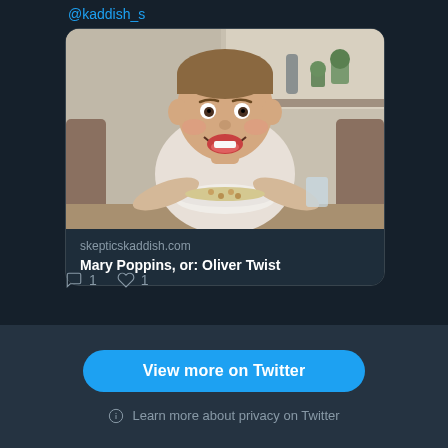@kaddish_s
[Figure (screenshot): Twitter link card showing a photo of a young boy smiling at a table with a bowl of food, linking to skepticskaddish.com article 'Mary Poppins, or: Oliver Twist']
skepticskaddish.com
Mary Poppins, or: Oliver Twist
1  1 (comment and like counts)
View more on Twitter
Learn more about privacy on Twitter